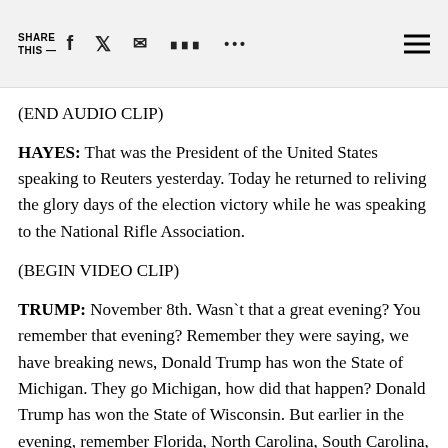SHARE THIS —  [social share icons]  [menu icon]
(END AUDIO CLIP)
HAYES:  That was the President of the United States speaking to Reuters yesterday.  Today he returned to reliving the glory days of the election victory while he was speaking to the National Rifle Association.
(BEGIN VIDEO CLIP)
TRUMP:  November 8th.  Wasn`t that a great evening?  You remember that evening?  Remember they were saying, we have breaking news, Donald Trump has won the State of Michigan.  They go Michigan, how did that happen?  Donald Trump has won the State of Wisconsin.  But earlier in the evening, remember Florida, North Carolina, South Carolina, Pennsylvania,